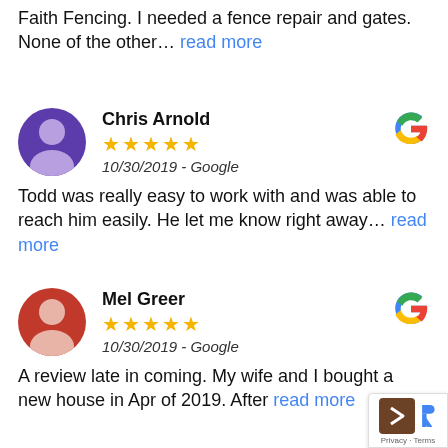Faith Fencing. I needed a fence repair and gates. None of the other… read more
Chris Arnold
10/30/2019 - Google
Todd was really easy to work with and was able to reach him easily. He let me know right away… read more
Mel Greer
10/30/2019 - Google
A review late in coming. My wife and I bought a new house in Apr of 2019. After read more